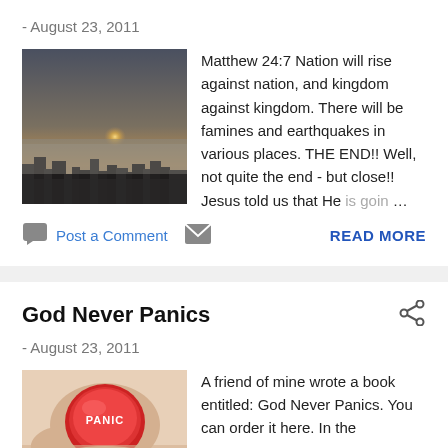- August 23, 2011
[Figure (photo): Apocalyptic cityscape with foggy sky and sunset]
Matthew 24:7 Nation will rise against nation, and kingdom against kingdom. There will be famines and earthquakes in various places. THE END!! Well, not quite the end - but close!! Jesus told us that He is goin…
Post a Comment
READ MORE
God Never Panics
- August 23, 2011
[Figure (photo): Hand holding a red panic button labeled PANIC]
A friend of mine wrote a book entitled: God Never Panics. You can order it here. In the